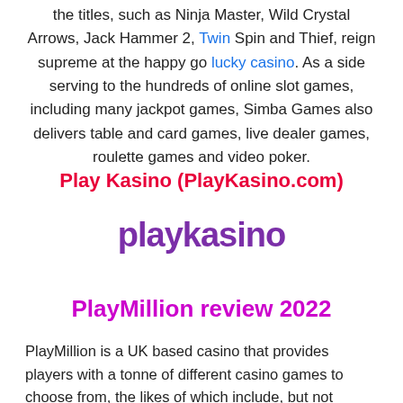the titles, such as Ninja Master, Wild Crystal Arrows, Jack Hammer 2, Twin Spin and Thief, reign supreme at the happy go lucky casino. As a side serving to the hundreds of online slot games, including many jackpot games, Simba Games also delivers table and card games, live dealer games, roulette games and video poker.
Play Kasino (PlayKasino.com)
[Figure (logo): PlayKasino logo in purple text]
PlayMillion review 2022
PlayMillion is a UK based casino that provides players with a tonne of different casino games to choose from, the likes of which include, but not limited to are Video Poker games